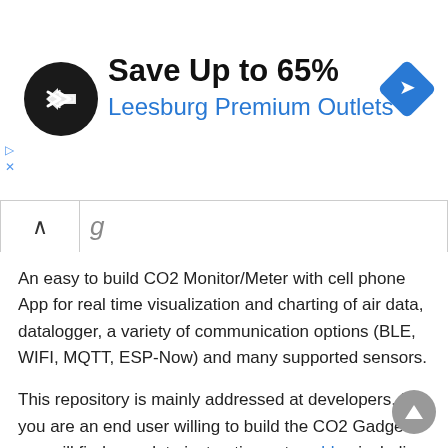[Figure (infographic): Advertisement banner: black circular logo with double arrow icon, text 'Save Up to 65%' in large bold black, 'Leesburg Premium Outlets' in large blue, blue diamond navigation icon on right, small forward/close arrows on left edge]
An easy to build CO2 Monitor/Meter with cell phone App for real time visualization and charting of air data, datalogger, a variety of communication options (BLE, WIFI, MQTT, ESP-Now) and many supported sensors.
This repository is mainly addressed at developers. If you are an end user willing to build the CO2 Gadget you will find complete instructions at my blog including instructions in how to build the hardware and to load the firmware very easily, with one click in your browser (without having edit files, compile or install anything on your computer).